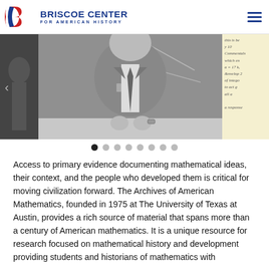BRISCOE CENTER FOR AMERICAN HISTORY
[Figure (photo): Slideshow carousel showing a black-and-white photograph of a man in a suit standing in front of a chalkboard, with a partial left thumbnail and a handwritten mathematics note on the right. Carousel navigation dots below.]
Access to primary evidence documenting mathematical ideas, their context, and the people who developed them is critical for moving civilization forward. The Archives of American Mathematics, founded in 1975 at The University of Texas at Austin, provides a rich source of material that spans more than a century of American mathematics. It is a unique resource for research focused on mathematical history and development providing students and historians of mathematics with